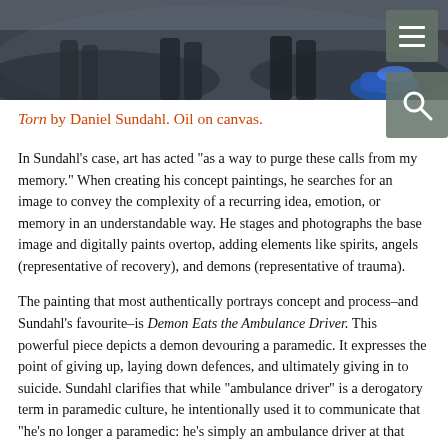[Figure (photo): Partial photograph showing feet/shoes on a dark ground, with a blue sneaker visible at right. Dark moody tones.]
Torn by Daniel Sundahl. Oil on canvas.
In Sundahl’s case, art has acted “as a way to purge these calls from my memory.” When creating his concept paintings, he searches for an image to convey the complexity of a recurring idea, emotion, or memory in an understandable way. He stages and photographs the base image and digitally paints overtop, adding elements like spirits, angels (representative of recovery), and demons (representative of trauma).
The painting that most authentically portrays concept and process–and Sundahl’s favourite–is Demon Eats the Ambulance Driver. This powerful piece depicts a demon devouring a paramedic. It expresses the point of giving up, laying down defences, and ultimately giving in to suicide. Sundahl clarifies that while “ambulance driver” is a derogatory term in paramedic culture, he intentionally used it to communicate that “he’s no longer a paramedic: he’s simply an ambulance driver at that point, ‘cause he’s just given in.”